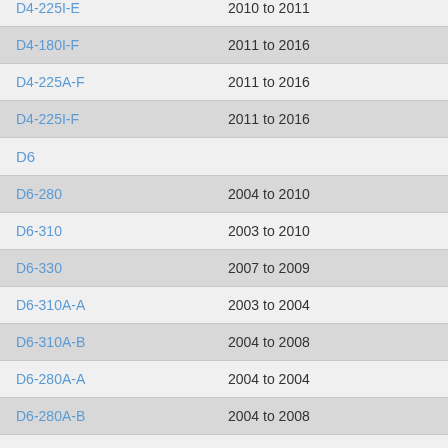| Model | Years |
| --- | --- |
| D4-225I-E | 2010 to 2011 |
| D4-180I-F | 2011 to 2016 |
| D4-225A-F | 2011 to 2016 |
| D4-225I-F | 2011 to 2016 |
| D6 |  |
| D6-280 | 2004 to 2010 |
| D6-310 | 2003 to 2010 |
| D6-330 | 2007 to 2009 |
| D6-310A-A | 2003 to 2004 |
| D6-310A-B | 2004 to 2008 |
| D6-280A-A | 2004 to 2004 |
| D6-280A-B | 2004 to 2008 |